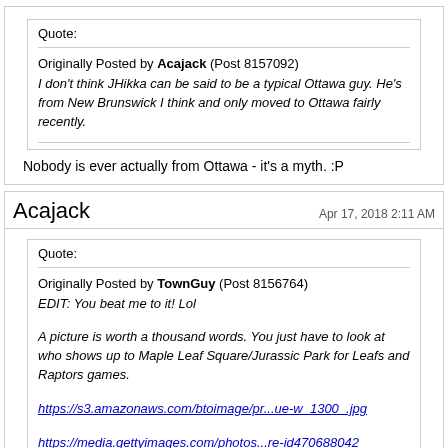Quote:
Originally Posted by Acajack (Post 8157092)
I don't think JHikka can be said to be a typical Ottawa guy. He's from New Brunswick I think and only moved to Ottawa fairly recently.
Nobody is ever actually from Ottawa - it's a myth. :P
Acajack
Apr 17, 2018 2:11 AM
Quote:
Originally Posted by TownGuy (Post 8156764)
EDIT: You beat me to it! Lol

A picture is worth a thousand words. You just have to look at who shows up to Maple Leaf Square/Jurassic Park for Leafs and Raptors games.

https://s3.amazonaws.com/btoimage/pr...ue-w_1300_.jpg

https://media.gettyimages.com/photos...re-id470688042